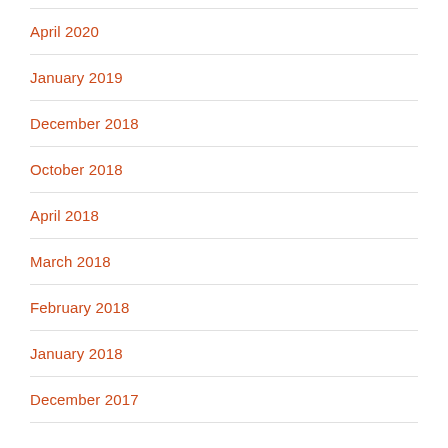April 2020
January 2019
December 2018
October 2018
April 2018
March 2018
February 2018
January 2018
December 2017